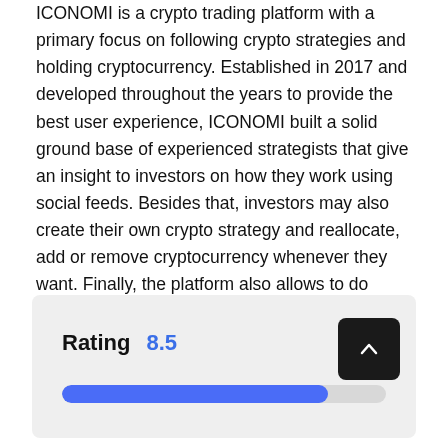ICONOMI is a crypto trading platform with a primary focus on following crypto strategies and holding cryptocurrency. Established in 2017 and developed throughout the years to provide the best user experience, ICONOMI built a solid ground base of experienced strategists that give an insight to investors on how they work using social feeds. Besides that, investors may also create their own crypto strategy and reallocate, add or remove cryptocurrency whenever they want. Finally, the platform also allows to do automated trading for the best market price.
[Figure (infographic): Rating widget showing score 8.5 with a blue progress bar filled to approximately 82% of the total width, and a dark arrow-up button on the right.]